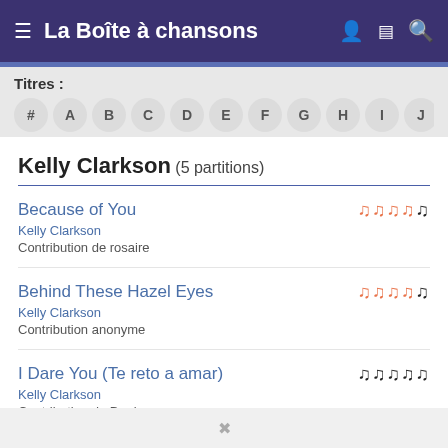La Boîte à chansons
Titres :
# A B C D E F G H I J K L M N O
Kelly Clarkson (5 partitions)
Because of You
Kelly Clarkson
Contribution de rosaire
Behind These Hazel Eyes
Kelly Clarkson
Contribution anonyme
I Dare You (Te reto a amar)
Kelly Clarkson
Contribution de Dggjcvgnspg